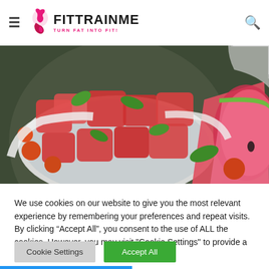FITTRAINME - TURN FAT INTO FIT!
[Figure (photo): A bowl of cubed watermelon salad with cherry tomatoes and fresh basil/mint leaves, with a watermelon slice and more tomatoes visible on a dark background]
We use cookies on our website to give you the most relevant experience by remembering your preferences and repeat visits. By clicking “Accept All”, you consent to the use of ALL the cookies. However, you may visit "Cookie Settings" to provide a controlled consent.
Cookie Settings | Accept All